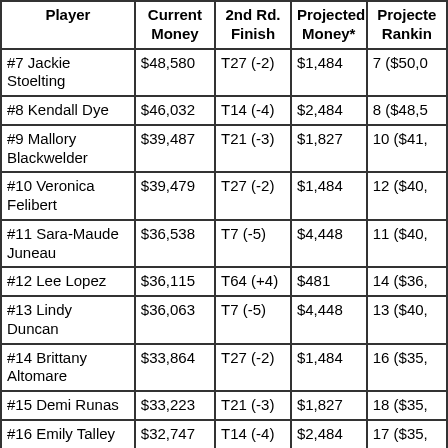| Player | Current Money | 2nd Rd. Finish | Projected Money* | Projected Ranking |
| --- | --- | --- | --- | --- |
| #7 Jackie Stoelting | $48,580 | T27 (-2) | $1,484 | 7 ($50,0... |
| #8 Kendall Dye | $46,032 | T14 (-4) | $2,484 | 8 ($48,5... |
| #9 Mallory Blackwelder | $39,487 | T21 (-3) | $1,827 | 10 ($41,... |
| #10 Veronica Felibert | $39,479 | T27 (-2) | $1,484 | 12 ($40,... |
| #11 Sara-Maude Juneau | $36,538 | T7 (-5) | $4,448 | 11 ($40,... |
| #12 Lee Lopez | $36,115 | T64 (+4) | $481 | 14 ($36,... |
| #13 Lindy Duncan | $36,063 | T7 (-5) | $4,448 | 13 ($40,... |
| #14 Brittany Altomare | $33,864 | T27 (-2) | $1,484 | 16 ($35,... |
| #15 Demi Runas | $33,223 | T21 (-3) | $1,827 | 18 ($35,... |
| #16 Emily Talley | $32,747 | T14 (-4) | $2,484 | 17 ($35,... |